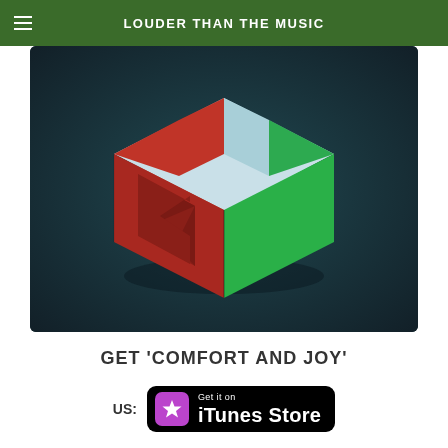LOUDER THAN THE MUSIC
[Figure (illustration): 3D geometric cube/box shape with red, light blue, and green vertical stripes on top face, red front face with angular arrow/play button cutout, on a dark teal/charcoal background. Album artwork for 'Comfort and Joy'.]
GET 'COMFORT AND JOY'
[Figure (logo): iTunes Store black button badge with pink/purple star icon on left and 'Get it on iTunes Store' text in white on black rounded rectangle background.]